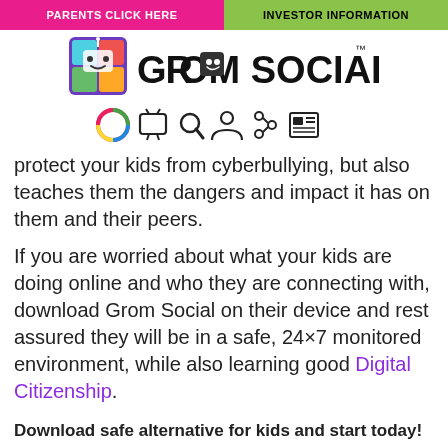PARENTS CLICK HERE | INVESTOR INFORMATION
[Figure (logo): Grom Social logo with colorful robot icon and stylized text 'GROM SOCIAL' with TM mark]
[Figure (other): Row of navigation icons: colorful wheel, TV, magnifying glass, person, share, newspaper]
protect your kids from cyberbullying, but also teaches them the dangers and impact it has on them and their peers.
If you are worried about what your kids are doing online and who they are connecting with, download Grom Social on their device and rest assured they will be in a safe, 24×7 monitored environment, while also learning good Digital Citizenship.
Download safe alternative for kids and start today!
About | Safety | Parents | Advertisers | DCL | News | Privacy | Terms